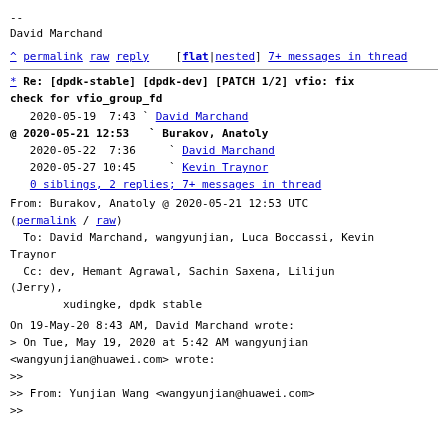--
David Marchand
^ permalink raw reply [flat|nested] 7+ messages in thread
* Re: [dpdk-stable] [dpdk-dev] [PATCH 1/2] vfio: fix check for vfio_group_fd
2020-05-19  7:43 ` David Marchand
@ 2020-05-21 12:53   ` Burakov, Anatoly
  2020-05-22  7:36     ` David Marchand
  2020-05-27 10:45     ` Kevin Traynor
  0 siblings, 2 replies; 7+ messages in thread
From: Burakov, Anatoly @ 2020-05-21 12:53 UTC (permalink / raw)
  To: David Marchand, wangyunjian, Luca Boccassi, Kevin Traynor
  Cc: dev, Hemant Agrawal, Sachin Saxena, Lilijun (Jerry),
        xudingke, dpdk stable
On 19-May-20 8:43 AM, David Marchand wrote:
> On Tue, May 19, 2020 at 5:42 AM wangyunjian
<wangyunjian@huawei.com> wrote:
>>
>> From: Yunjian Wang <wangyunjian@huawei.com>
>>